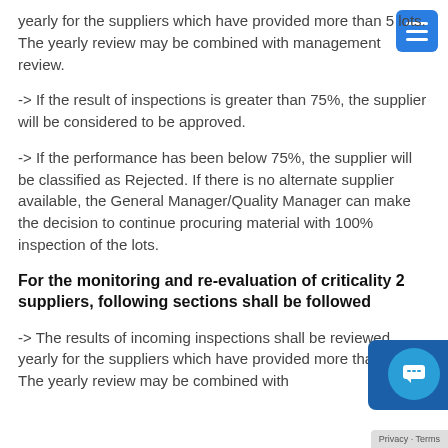yearly for the suppliers which have provided more than 5 lots. The yearly review may be combined with management review.
-> If the result of inspections is greater than 75%, the supplier will be considered to be approved.
-> If the performance has been below 75%, the supplier will be classified as Rejected. If there is no alternate supplier available, the General Manager/Quality Manager can make the decision to continue procuring material with 100% inspection of the lots.
For the monitoring and re-evaluation of criticality 2 suppliers, following sections shall be followed
-> The results of incoming inspections shall be reviewed yearly for the suppliers which have provided more than 5 lots. The yearly review may be combined with